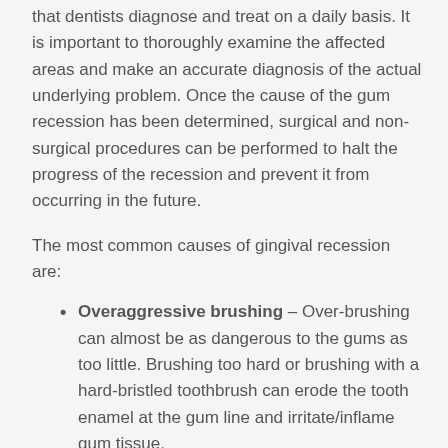that dentists diagnose and treat on a daily basis. It is important to thoroughly examine the affected areas and make an accurate diagnosis of the actual underlying problem. Once the cause of the gum recession has been determined, surgical and non-surgical procedures can be performed to halt the progress of the recession and prevent it from occurring in the future.
The most common causes of gingival recession are:
Overaggressive brushing – Over-brushing can almost be as dangerous to the gums as too little. Brushing too hard or brushing with a hard-bristled toothbrush can erode the tooth enamel at the gum line and irritate/inflame gum tissue.
Poor oral hygiene – When brushing and flossing are performed improperly or not at all, a plaque build up can begin to affect the